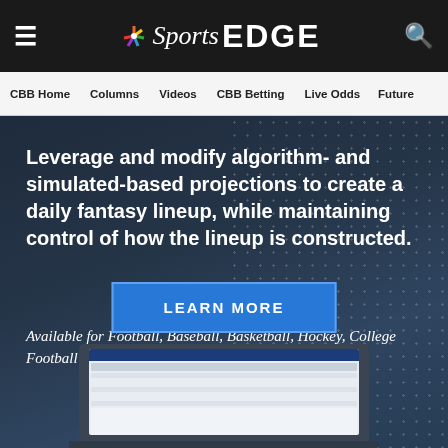NBC Sports EDGE
CBB Home   Columns   Videos   CBB Betting   Live Odds   Future
Leverage and modify algorithm- and simulated-based projections to create a daily fantasy lineup, while maintaining control of how the lineup is constructed.
Available for Football, Baseball, Basketball, Hockey, College Football and College Basketball.
LEARN MORE
[Figure (screenshot): Partial laptop screen showing a sports data/lineup tool interface]